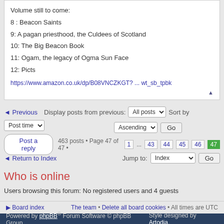Volume still to come:
8 : Beacon Saints
9: A pagan priesthood, the Culdees of Scotland
10: The Big Beacon Book
11: Ogam, the legacy of Ogma Sun Face
12: Picts

https://www.amazon.co.uk/dp/B08VNCZKGT? ... wt_sb_tpbk
◄ Previous  Display posts from previous: All posts ▾  Sort by  Post time ▾
  Ascending ▾  Go
Post a reply   463 posts • Page 47 of 47 • 1 ... 43 44 45 46 47
◄ Return to Index   Jump to: Index ▾  Go
Who is online
Users browsing this forum: No registered users and 4 guests
Board index  The team • Delete all board cookies • All times are UTC
Powered by phpBB® Forum Software © phpBB Group   Style designed by Artodia.